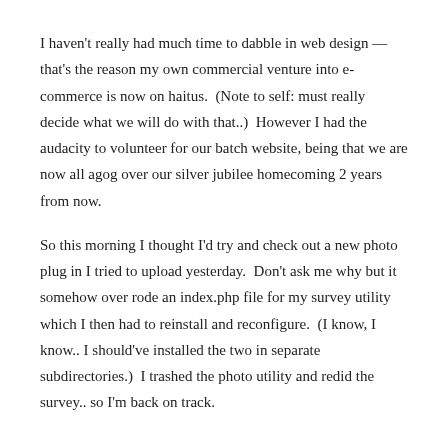I haven't really had much time to dabble in web design — that's the reason my own commercial venture into e-commerce is now on haitus.  (Note to self: must really decide what we will do with that..)  However I had the audacity to volunteer for our batch website, being that we are now all agog over our silver jubilee homecoming 2 years from now.
So this morning I thought I'd try and check out a new photo plug in I tried to upload yesterday.  Don't ask me why but it somehow over rode an index.php file for my survey utility which I then had to reinstall and reconfigure.  (I know, I know.. I should've installed the two in separate subdirectories.)  I trashed the photo utility and redid the survey.. so I'm back on track.